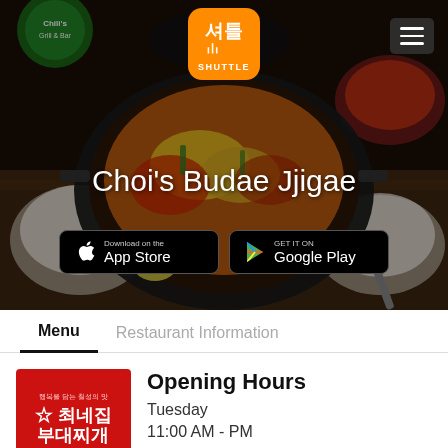[Figure (screenshot): Hero image of Korean stew (Budae Jjigae) in a hot pot, surrounded by side dishes, with dark overlay. Shuttle app logo at top center, hamburger menu at top right, restaurant name overlay, and app store download buttons.]
Choi's Budae Jjigae
[Figure (logo): Shuttle app logo - orange rounded square with Korean characters and SHUTTLE text]
Download on the App Store
GET IT ON Google Play
Menu
Restaurant Information
[Figure (logo): Choi's Budae Jjigae restaurant logo - red square with white Korean text and Since 1969]
Opening Hours
Tuesday
11:00 AM - PM
Cuisines
Korean